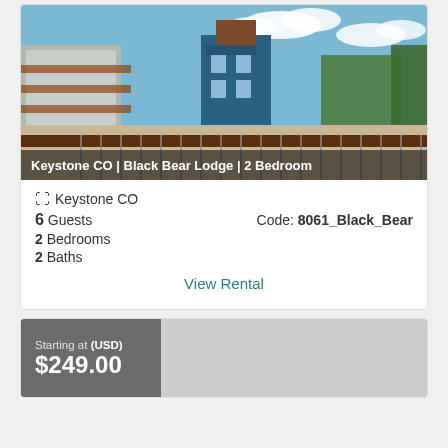[Figure (photo): Aerial/balcony view of Keystone CO resort village with buildings, trees, and blue sky]
Keystone CO | Black Bear Lodge | 2 Bedroom
📍 Keystone CO
6 Guests    Code: 8061_Black_Bear
2 Bedrooms
2 Baths
View Rental
Starting at (USD)
$249.00